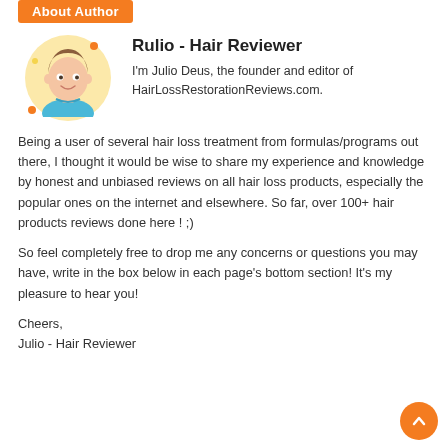About Author
[Figure (illustration): Cartoon avatar of a young man with brown hair and a blue shirt, inside a yellow circle with orange and yellow decorative dots]
Rulio - Hair Reviewer
I'm Julio Deus, the founder and editor of HairLossRestorationReviews.com.
Being a user of several hair loss treatment from formulas/programs out there, I thought it would be wise to share my experience and knowledge by honest and unbiased reviews on all hair loss products, especially the popular ones on the internet and elsewhere. So far, over 100+ hair products reviews done here ! ;)
So feel completely free to drop me any concerns or questions you may have, write in the box below in each page's bottom section! It's my pleasure to hear you!
Cheers,
Julio - Hair Reviewer